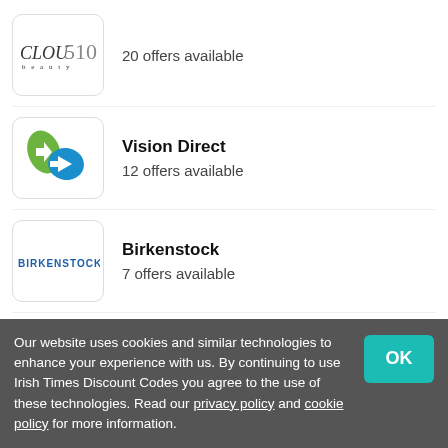Cloud10 — 20 offers available
Vision Direct — 12 offers available
Birkenstock — 7 offers available
BeautyFeatures.ie — 18 offers available
Life Style Sports — 8 offers available
Our website uses cookies and similar technologies to enhance your experience with us. By continuing to use Irish Times Discount Codes you agree to the use of these technologies. Read our privacy policy and cookie policy for more information.